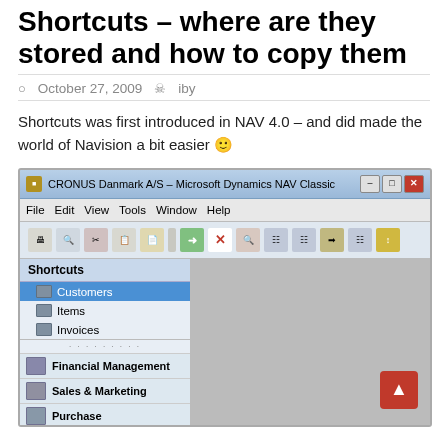Shortcuts – where are they stored and how to copy them
October 27, 2009   iby
Shortcuts was first introduced in NAV 4.0 – and did made the world of Navision a bit easier 🙂
[Figure (screenshot): Screenshot of CRONUS Danmark A/S – Microsoft Dynamics NAV Classic application window showing the Shortcuts panel with Customers (selected/highlighted in blue), Items, and Invoices entries. Below the shortcuts panel are sections for Financial Management, Sales & Marketing, and Purchase.]